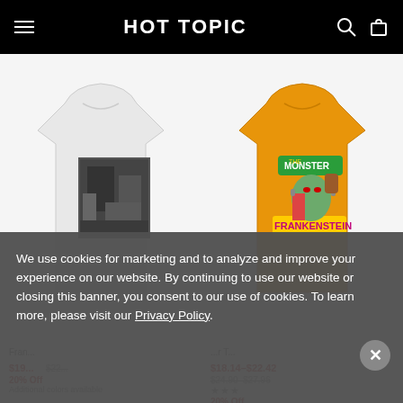HOT TOPIC
[Figure (photo): White t-shirt with black and white graphic photo print on front]
[Figure (photo): Orange t-shirt with colorful Monster Frankenstein graphic print on front]
Fran... $19... $22... 20% Off Additional colors available
...r T... $18.14–$22.42 $24.90–$27.96 ★★★ 20% Off Additional colors available
We use cookies for marketing and to analyze and improve your experience on our website. By continuing to use our website or closing this banner, you consent to our use of cookies. To learn more, please visit our Privacy Policy.